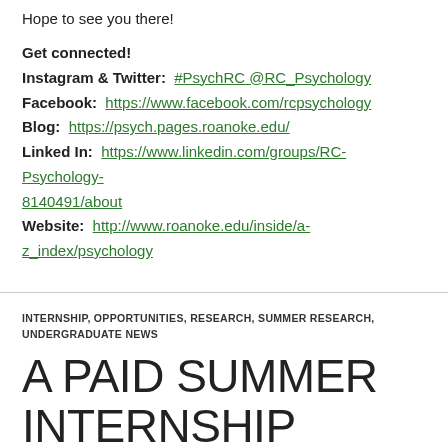Hope to see you there!
Get connected!
Instagram & Twitter: #PsychRC @RC_Psychology
Facebook: https://www.facebook.com/rcpsychology
Blog: https://psych.pages.roanoke.edu/
Linked In: https://www.linkedin.com/groups/RC-Psychology-8140491/about
Website: http://www.roanoke.edu/inside/a-z_index/psychology
INTERNSHIP, OPPORTUNITIES, RESEARCH, SUMMER RESEARCH, UNDERGRADUATE NEWS
A PAID SUMMER INTERNSHIP OPPORTUNITY